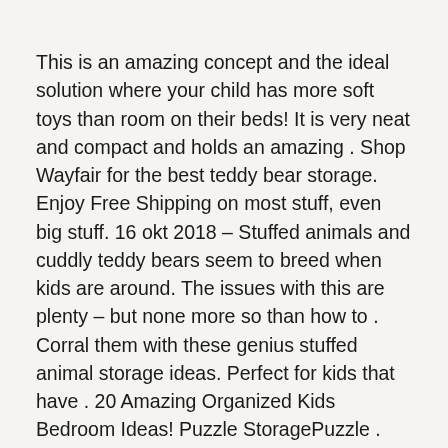This is an amazing concept and the ideal solution where your child has more soft toys than room on their beds! It is very neat and compact and holds an amazing . Shop Wayfair for the best teddy bear storage. Enjoy Free Shipping on most stuff, even big stuff. 16 okt 2018 – Stuffed animals and cuddly teddy bears seem to breed when kids are around. The issues with this are plenty – but none more so than how to . Corral them with these genius stuffed animal storage ideas. Perfect for kids that have . 20 Amazing Organized Kids Bedroom Ideas! Puzzle StoragePuzzle . Cargo Net Stuffed Animal Storage Organizing Stuffed Animals, Stuffed Animal Storage, Stuffed Animal Net . 20 Amazing Organized Kids Bedroom Ideas! Storing Stuffed Animals, Stuffed Animal Net, Stuffed. Visit Discover ideas about Storing Stuffed